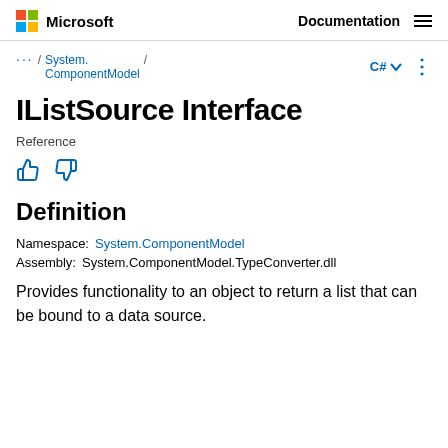Microsoft | Documentation
... / System.ComponentModel / C# ⌄ :
IListSource Interface
Reference
Definition
Namespace:  System.ComponentModel
Assembly:  System.ComponentModel.TypeConverter.dll
Provides functionality to an object to return a list that can be bound to a data source.